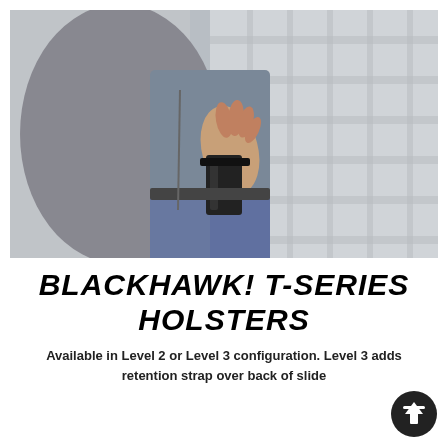[Figure (photo): Person wearing a plaid shirt drawing a gun from a holster at the hip, viewed from behind/side. Black holster visible, hand gripping firearm. Gray and plaid clothing, casual setting.]
BLACKHAWK! T-SERIES HOLSTERS
Available in Level 2 or Level 3 configuration. Level 3 adds retention strap over back of slide
SHOP NOW